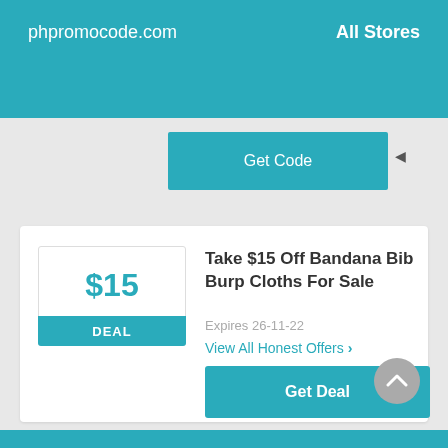phpromocode.com   All Stores
Get Code
Take $15 Off Bandana Bib Burp Cloths For Sale
Expires 26-11-22
View All Honest Offers >
Get Deal